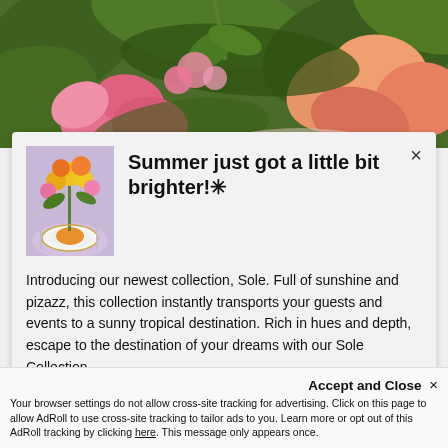[Figure (photo): Hero image of pink and orange flowers with green leaves, table setting visible with floral arrangement]
Summer just got a little bit brighter!✳
[Figure (photo): Small thumbnail of a floral table setting with orange and yellow flower arrangement, white plate with orange napkin]
Introducing our newest collection, Sole. Full of sunshine and pizazz, this collection instantly transports your guests and events to a sunny tropical destination. Rich in hues and depth, escape to the destination of your dreams with our Sole Collection.
Accept and Close ✕
Your browser settings do not allow cross-site tracking for advertising. Click on this page to allow AdRoll to use cross-site tracking to tailor ads to you. Learn more or opt out of this AdRoll tracking by clicking here. This message only appears once.